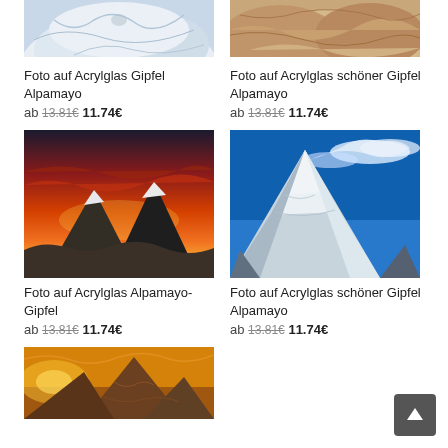[Figure (photo): Partial top view of snowy mountain peak – aerial view with snow and ice]
[Figure (photo): Partial top view of snowy mountain with warm sandy tones]
Foto auf Acrylglas Gipfel Alpamayo
ab 13.81€ 11.74€
Foto auf Acrylglas schöner Gipfel Alpamayo
ab 13.81€ 11.74€
[Figure (photo): Mountain peaks at sunset with dramatic orange and red sky]
[Figure (photo): Snow-capped mountain peak against vivid blue sky with clouds]
Foto auf Acrylglas Alpamayo-Gipfel
ab 13.81€ 11.74€
Foto auf Acrylglas schöner Gipfel Alpamayo
ab 13.81€ 11.74€
[Figure (photo): Partial bottom mountain at golden sunset, warm tones]